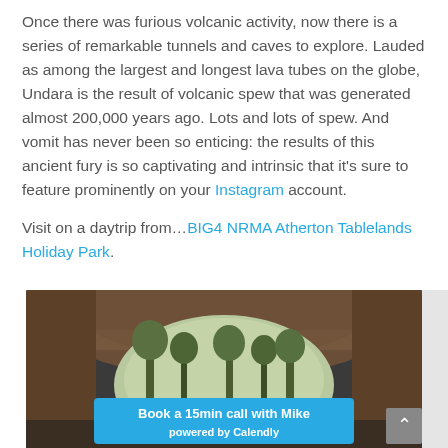Once there was furious volcanic activity, now there is a series of remarkable tunnels and caves to explore. Lauded as among the largest and longest lava tubes on the globe, Undara is the result of volcanic spew that was generated almost 200,000 years ago. Lots and lots of spew. And vomit has never been so enticing: the results of this ancient fury is so captivating and intrinsic that it's sure to feature prominently on your Instagram account.
Visit on a daytrip from…BIG4 NRMA Atherton Tablelands Holiday Park.
[Figure (photo): Interior of a large lava tube cave (Undara), looking toward a bright opening revealing trees and sky outside. Rocky cave walls with layered textures visible. Small figures of visitors visible near the cave entrance.]